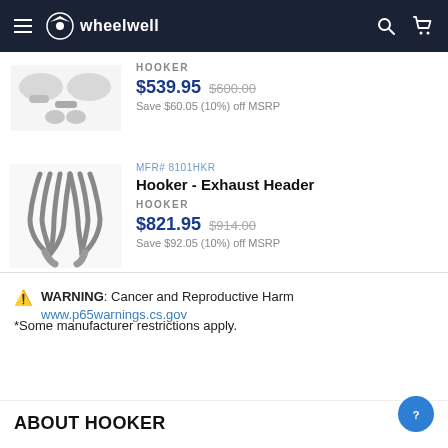wheelwell
HOOKER
$539.95  $600.00
Save $60.05 (10%) off MSRP
MFR# 8101HKR
Hooker - Exhaust Header
HOOKER
$821.95  $914.00
Save $92.05 (10%) off MSRP
WARNING: Cancer and Reproductive Harm www.p65warnings.cs.gov
*Some manufacturer restrictions apply.
ABOUT HOOKER